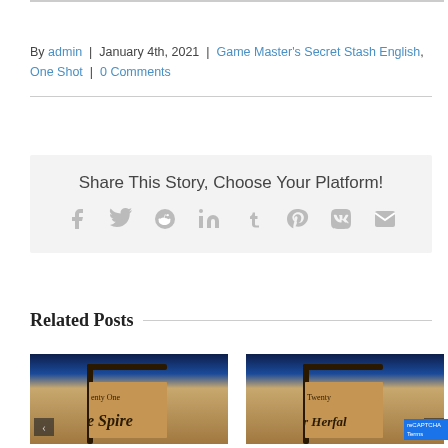By admin | January 4th, 2021 | Game Master's Secret Stash English, One Shot | 0 Comments
Share This Story, Choose Your Platform!
[Figure (infographic): Social sharing icons: facebook, twitter, reddit, linkedin, tumblr, pinterest, vk, email]
Related Posts
[Figure (photo): Book cover thumbnail showing 'Twenty One' and 'The Spire' in gothic font on aged parchment with dark blue sky]
[Figure (photo): Book cover thumbnail showing 'Twenty' and 'or Herfal' in gothic font on aged parchment with dark blue sky]